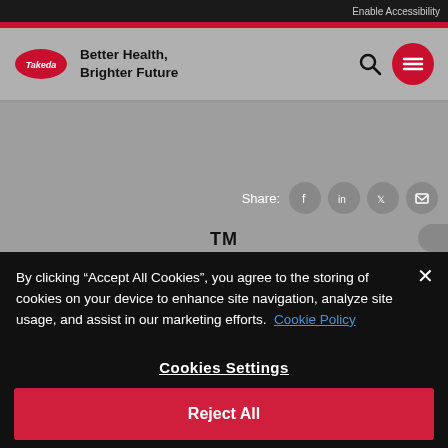Enable Accessibility
[Figure (logo): Takeda pharmaceutical logo — red oval with Takeda text, followed by tagline 'Better Health, Brighter Future']
[Figure (screenshot): Grey website background area with social share icons (Facebook, LinkedIn, Twitter, Mail) and a partial TM label]
By clicking “Accept All Cookies”, you agree to the storing of cookies on your device to enhance site navigation, analyze site usage, and assist in our marketing efforts. Cookie Policy
Cookies Settings
Reject All